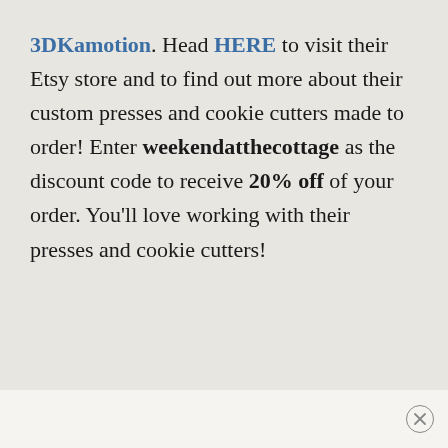3DKamotion. Head HERE to visit their Etsy store and to find out more about their custom presses and cookie cutters made to order! Enter weekendatthecottage as the discount code to receive 20% off of your order. You'll love working with their presses and cookie cutters!